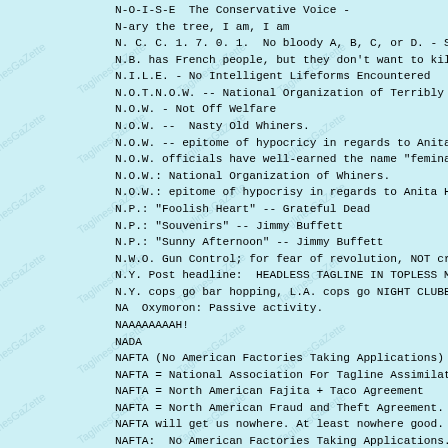N-O-I-S-E  The Conservative Voice -
N-ary the tree, I am, I am
N. C. C. 1. 7. 0. 1.  No bloody A, B, C, or D. - S
N.B. has French people, but they don't want to kil
N.I.L.E. - No Intelligent Lifeforms Encountered
N.O.T.N.O.W. -- National Organization of Terribly
N.O.W. - Not Off Welfare
N.O.W. --  Nasty Old Whiners.
N.O.W. -- epitome of hypocricy in regards to Anita
N.O.W. officials have well-earned the name "femina
N.O.W.: National Organization of Whiners.
N.O.W.: epitome of hypocrisy in regards to Anita H
N.P.: "Foolish Heart" -- Grateful Dead
N.P.: "Souvenirs" -- Jimmy Buffett
N.P.: "Sunny Afternoon" -- Jimmy Buffett
N.W.O. Gun Control; for fear of revolution, NOT cr
N.Y. Post headline:  HEADLESS TAGLINE IN TOPLESS M
N.Y. cops go bar hopping, L.A. cops go NIGHT CLUBB
NA  Oxymoron: Passive activity.
NAAAAAAAAH!
NADA
NAFTA (No American Factories Taking Applications)
NAFTA = National Association For Tagline Assimilat
NAFTA = North American Fajita + Taco Agreement
NAFTA = North American Fraud and Theft Agreement.
NAFTA will get us nowhere. At least nowhere good.
NAFTA:  No American Factories Taking Applications.
NAFTA:  the price we finally pay for the Mexican W
NAFTA: No American Factories Taking Applications
NAFTA: Not Another F      Trade Agreement